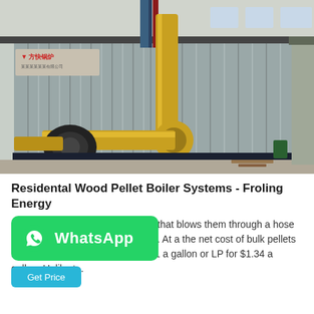[Figure (photo): Industrial wood pellet boiler system with corrugated metal casing and yellow gas pipes in a factory/warehouse setting. Chinese manufacturer logo visible on the unit.]
Residental Wood Pellet Boiler Systems - Froling Energy
Pellets are delivered from a truck that blows them through a hose silo. Wood pellets are economical. At a the net cost of bulk pellets is the same as buying oil for $2.01 a gallon or LP for $1.34 a gallon. Unlike t...
[Figure (logo): WhatsApp button overlay with green background, WhatsApp icon and 'WhatsApp' text in white]
Get Price